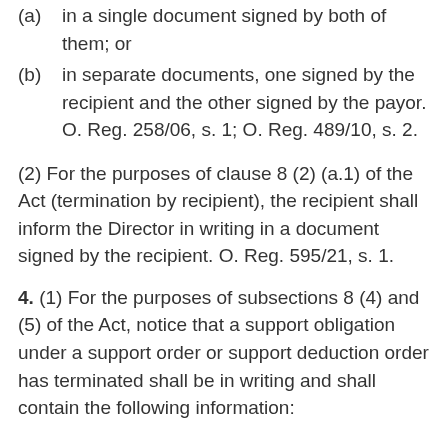(a)  in a single document signed by both of them; or
(b)  in separate documents, one signed by the recipient and the other signed by the payor.  O. Reg. 258/06, s. 1; O. Reg. 489/10, s. 2.
(2) For the purposes of clause 8 (2) (a.1) of the Act (termination by recipient), the recipient shall inform the Director in writing in a document signed by the recipient. O. Reg. 595/21, s. 1.
4. (1) For the purposes of subsections 8 (4) and (5) of the Act, notice that a support obligation under a support order or support deduction order has terminated shall be in writing and shall contain the following information: